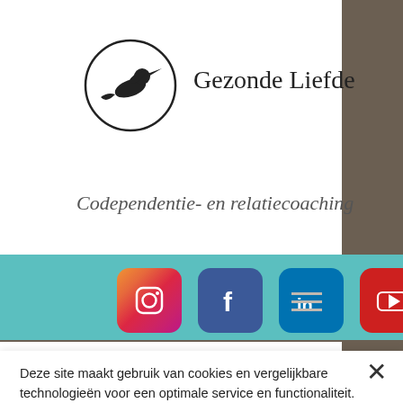[Figure (logo): Gezonde Liefde logo — hummingbird silhouette inside a circle with the brand name 'Gezonde Liefde' to the right, and tagline 'Codependentie- en relatiecoaching' below]
[Figure (infographic): Teal bar with four social media icons: Instagram (pink gradient), Facebook (blue), LinkedIn (blue), YouTube (red)]
Deze site maakt gebruik van cookies en vergelijkbare technologieën voor een optimale service en functionaliteit. Door op 'Accepteren' te klikken ga je ermee akkoord dat er dergelijke technologieën worden gebruikt voor marketing en analytische gegevens. Klik hier voor onze privacyverklaring
Cookie-instellingen
Accepteren